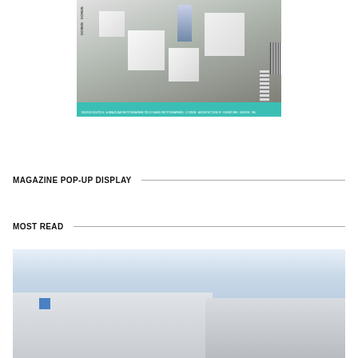[Figure (photo): Magazine cover showing white geometric cube sculptures in an art gallery/exhibition space, with a person sitting on one of the cubes. Magazine has a teal/cyan bar at the bottom with text, and a barcode on the right side.]
MAGAZINE POP-UP DISPLAY
MOST READ
[Figure (photo): Exterior architectural photograph of a modern building with white and grey facade, blue windows on the left side, and structured metal railings or louvres on the right side, against a blue sky.]